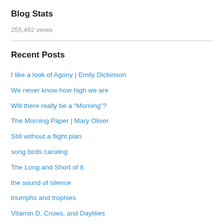Blog Stats
255,482 views
Recent Posts
I like a look of Agony | Emily Dickinson
We never know how high we are
Will there really be a “Morning”?
The Morning Paper | Mary Oliver
Still without a flight plan
song birds caroling
The Long and Short of it
the sound of silence
triumphs and trophies
Vitamin D, Crows, and Daylilies
Categories